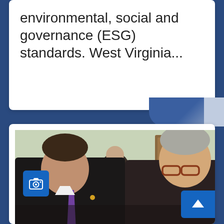environmental, social and governance (ESG) standards. West Virginia...
[Figure (photo): Two men in suits — one on the left leaning in to speak, wearing a purple tie, and one on the right with glasses and grey hair — appear to be senators in conversation, with a crowd of people blurred in the background. A camera icon button and an up-arrow scroll button are overlaid on the photo.]